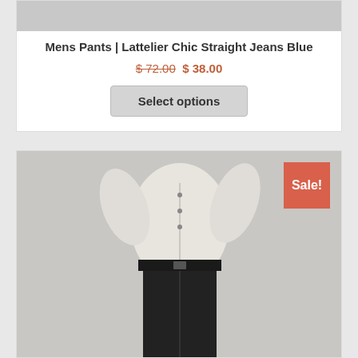[Figure (photo): Top portion of a product card showing a light grey product image placeholder]
Mens Pants | Lattelier Chic Straight Jeans Blue
$ 72.00 $ 38.00
Select options
[Figure (photo): Second product card with a man wearing a white shirt and black slim jeans, with a Sale! badge in the top right corner]